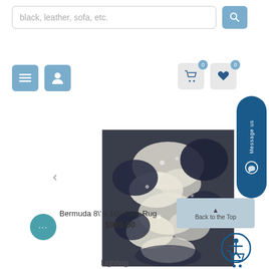black, leather, sofa, etc. [search bar]
[Figure (screenshot): E-commerce product page showing a Bermuda 8' x 10' Area Rug with a dark blue/white abstract pattern, priced at $999.00. Page includes search bar, navigation icons, carousel arrows, and a 'Message us' sidebar button.]
Bermuda 8\' x 10\' Area Rug
$999.00
Back to the Top
Lighting